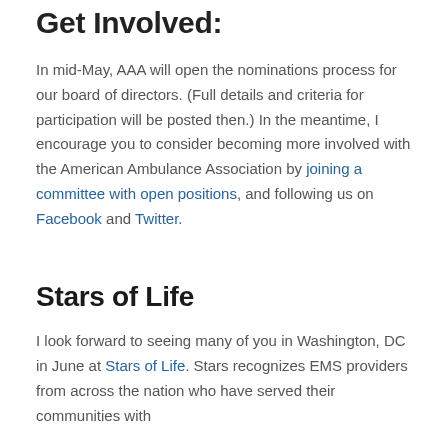Get Involved:
In mid-May, AAA will open the nominations process for our board of directors. (Full details and criteria for participation will be posted then.) In the meantime, I encourage you to consider becoming more involved with the American Ambulance Association by joining a committee with open positions, and following us on Facebook and Twitter.
Stars of Life
I look forward to seeing many of you in Washington, DC in June at Stars of Life. Stars recognizes EMS providers from across the nation who have served their communities with